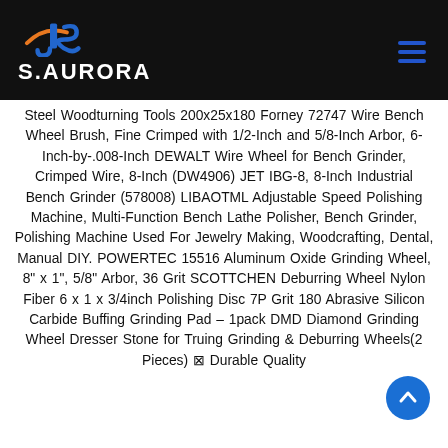[Figure (logo): S.AURORA logo with stylized JS icon in blue and orange on black background header, with hamburger menu icon on right]
Steel Woodturning Tools 200x25x180 Forney 72747 Wire Bench Wheel Brush, Fine Crimped with 1/2-Inch and 5/8-Inch Arbor, 6-Inch-by-.008-Inch DEWALT Wire Wheel for Bench Grinder, Crimped Wire, 8-Inch (DW4906) JET IBG-8, 8-Inch Industrial Bench Grinder (578008) LIBAOTML Adjustable Speed Polishing Machine, Multi-Function Bench Lathe Polisher, Bench Grinder, Polishing Machine Used For Jewelry Making, Woodcrafting, Dental, Manual DIY. POWERTEC 15516 Aluminum Oxide Grinding Wheel, 8" x 1", 5/8" Arbor, 36 Grit SCOTTCHEN Deburring Wheel Nylon Fiber 6 x 1 x 3/4inch Polishing Disc 7P Grit 180 Abrasive Silicon Carbide Buffing Grinding Pad – 1pack DMD Diamond Grinding Wheel Dresser Stone for Truing Grinding & Deburring Wheels(2 Pieces) ⊠ Durable Quality